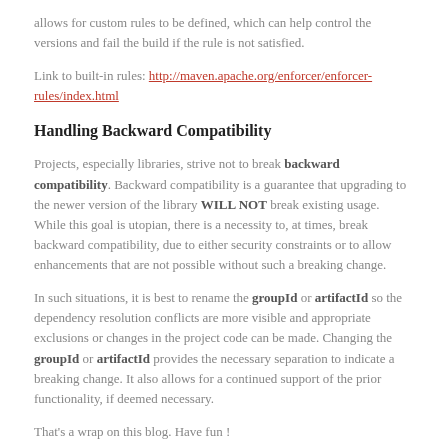allows for custom rules to be defined, which can help control the versions and fail the build if the rule is not satisfied.
Link to built-in rules: http://maven.apache.org/enforcer/enforcer-rules/index.html
Handling Backward Compatibility
Projects, especially libraries, strive not to break backward compatibility. Backward compatibility is a guarantee that upgrading to the newer version of the library WILL NOT break existing usage. While this goal is utopian, there is a necessity to, at times, break backward compatibility, due to either security constraints or to allow enhancements that are not possible without such a breaking change.
In such situations, it is best to rename the groupId or artifactId so the dependency resolution conflicts are more visible and appropriate exclusions or changes in the project code can be made. Changing the groupId or artifactId provides the necessary separation to indicate a breaking change. It also allows for a continued support of the prior functionality, if deemed necessary.
That's a wrap on this blog. Have fun !